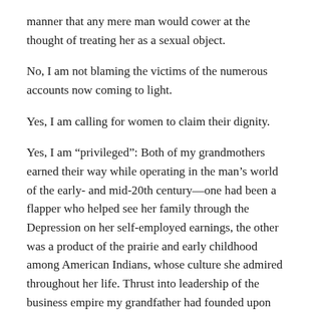manner that any mere man would cower at the thought of treating her as a sexual object.
No, I am not blaming the victims of the numerous accounts now coming to light.
Yes, I am calling for women to claim their dignity.
Yes, I am “privileged”: Both of my grandmothers earned their way while operating in the man’s world of the early- and mid-20th century—one had been a flapper who helped see her family through the Depression on her self-employed earnings, the other was a product of the prairie and early childhood among American Indians, whose culture she admired throughout her life. Thrust into leadership of the business empire my grandfather had founded upon his accidental death when she was 65, she ably managed the existential crisis created by his death, continuing to oversee the businesses’ growing success over the next three decades. My mother was similarly a strong role model, equally at home on corporate and non-profit boards as hands-on Camping Chair of